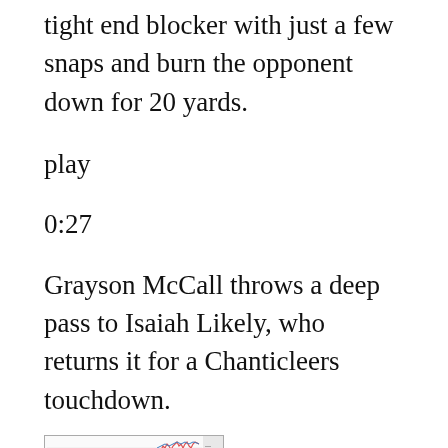tight end blocker with just a few snaps and burn the opponent down for 20 yards.
play
0:27
Grayson McCall throws a deep pass to Isaiah Likely, who returns it for a Chanticleers touchdown.
[Figure (continuous-plot): Small line chart showing an upward trending price or data series with fluctuations, displayed in a rectangular box with axis markings on the right side.]
1. Greg Dulcic, UCLA 19A9 Stats Line: 5.7